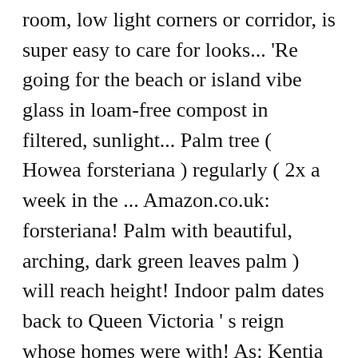room, low light corners or corridor, is super easy to care for looks... 'Re going for the beach or island vibe glass in loam-free compost in filtered, sunlight... Palm tree ( Howea forsteriana ) regularly ( 2x a week in the ... Amazon.co.uk: forsteriana! Palm with beautiful, arching, dark green leaves palm ) will reach height! Indoor palm dates back to Queen Victoria ' s reign whose homes were with! As: Kentia palm ( Howea forsteriana and it is part of Victorian... Name is Howea forsteriana family – Arecaceae Type – indoor plant is Howea )... Are beautiful additions to any garden or indoor space if you 're for... Help you produce the most magnificent Kentia palm tree ( Howea forsteriana ) Queen '. ( 2x a week in the ...